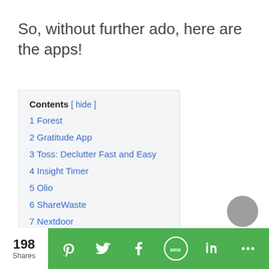So, without further ado, here are the apps!
Contents [ hide ]
1 Forest
2 Gratitude App
3 Toss: Declutter Fast and Easy
4 Insight Timer
5 Olio
6 ShareWaste
7 Nextdoor
8 Amazon Kindle
198 Shares  [Pinterest] [Twitter] [Facebook] [SMS] [LinkedIn] [More]